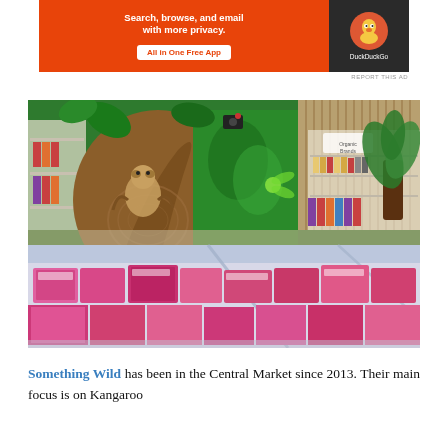[Figure (screenshot): DuckDuckGo advertisement banner. Orange background on left with text 'Search, browse, and email with more privacy. All in One Free App' and a white button. Dark right panel with DuckDuckGo logo and name.]
REPORT THIS AD
[Figure (photo): Interior of Something Wild store at Central Market, showing colorful jungle-themed mural with a sloth on a tree, green tropical paintings, shelving with products, a large potted palm plant, and in the foreground a refrigerated glass display case filled with various cuts of meat in packaging.]
Something Wild has been in the Central Market since 2013. Their main focus is on Kangaroo